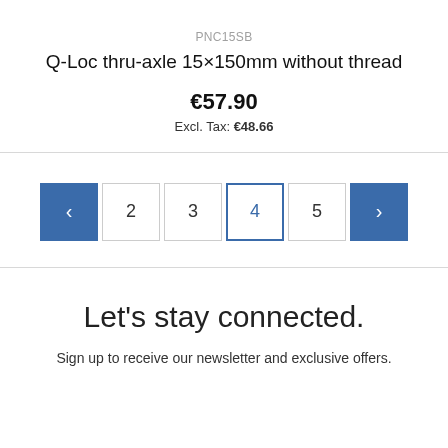PNC15SB
Q-Loc thru-axle 15×150mm without thread
€57.90
Excl. Tax: €48.66
< 2 3 4 5 >
Let's stay connected.
Sign up to receive our newsletter and exclusive offers.